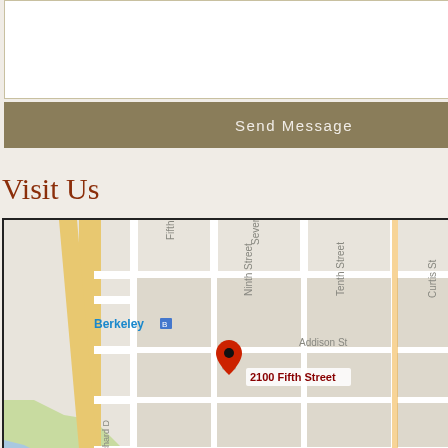[Figure (other): White textarea input box for message composition]
Send Message
Visit Us
[Figure (map): Google Maps showing 2100 Fifth Street at corner of Addison in Berkeley, CA. Red pin marker labeled '2100 Fifth Street'. Streets visible include Addison St, Fifth Street, Seventh, Ninth Street, Tenth Street, Curtis St, San Pablo Ave, Allston W, Bancro. Berkeley label visible in blue.]
VISIT THE STUDIO
2100 Fifth Street (corner of Addison)
Berkeley, CA 94710
Social